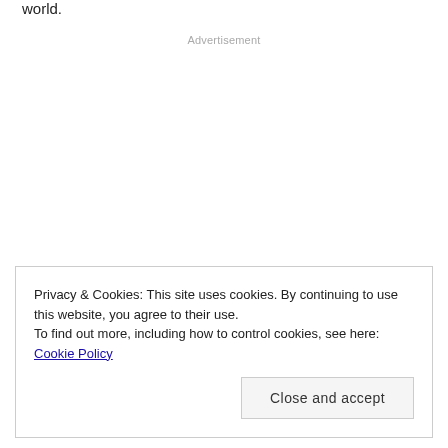world.
Advertisement
Privacy & Cookies: This site uses cookies. By continuing to use this website, you agree to their use.
To find out more, including how to control cookies, see here: Cookie Policy
Close and accept